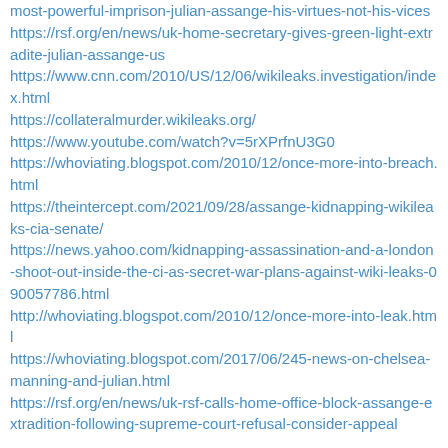most-powerful-imprison-julian-assange-his-virtues-not-his-vices
https://rsf.org/en/news/uk-home-secretary-gives-green-light-extradite-julian-assange-us
https://www.cnn.com/2010/US/12/06/wikileaks.investigation/index.html
https://collateralmurder.wikileaks.org/
https://www.youtube.com/watch?v=5rXPrfnU3G0
https://whoviating.blogspot.com/2010/12/once-more-into-breach.html
https://theintercept.com/2021/09/28/assange-kidnapping-wikileaks-cia-senate/
https://news.yahoo.com/kidnapping-assassination-and-a-london-shoot-out-inside-the-ci-as-secret-war-plans-against-wiki-leaks-090057786.html
http://whoviating.blogspot.com/2010/12/once-more-into-leak.html
https://whoviating.blogspot.com/2017/06/245-news-on-chelsea-manning-and-julian.html
https://rsf.org/en/news/uk-rsf-calls-home-office-block-assange-extradition-following-supreme-court-refusal-consider-appeal